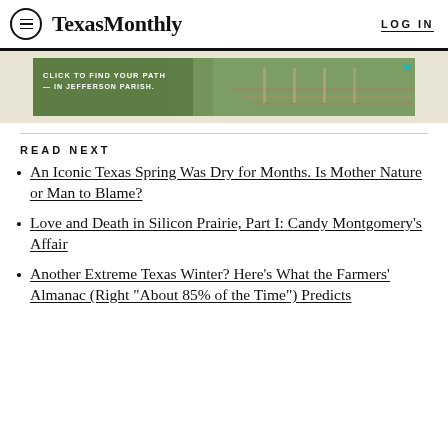Texas Monthly  LOG IN
[Figure (photo): Advertisement banner: CLICK TO FIND YOUR PATH IN JEFFERSON PARISH. Shows people on a wooden walkway/bridge in a forested area.]
READ NEXT
An Iconic Texas Spring Was Dry for Months. Is Mother Nature or Man to Blame?
Love and Death in Silicon Prairie, Part I: Candy Montgomery’s Affair
Another Extreme Texas Winter? Here’s What the Farmers’ Almanac (Right “About 85% of the Time”) Predicts